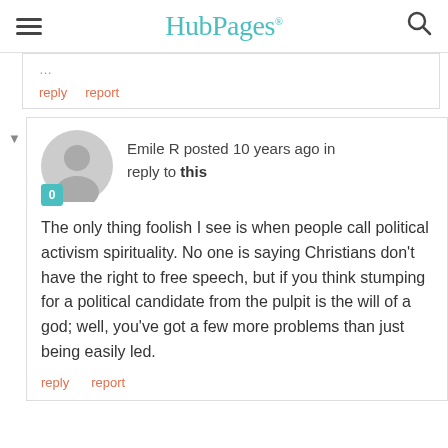HubPages
reply   report
Emile R posted 10 years ago in reply to this
The only thing foolish I see is when people call political activism spirituality. No one is saying Christians don't have the right to free speech, but if you think stumping for a political candidate from the pulpit is the will of a god; well, you've got a few more problems than just being easily led.
reply   report